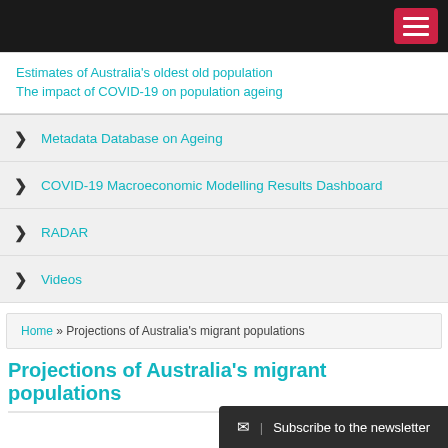Navigation menu header bar
Estimates of Australia's oldest old population
The impact of COVID-19 on population ageing
Metadata Database on Ageing
COVID-19 Macroeconomic Modelling Results Dashboard
RADAR
Videos
Home » Projections of Australia's migrant populations
Projections of Australia's migrant populations
✉ | Subscribe to the newsletter